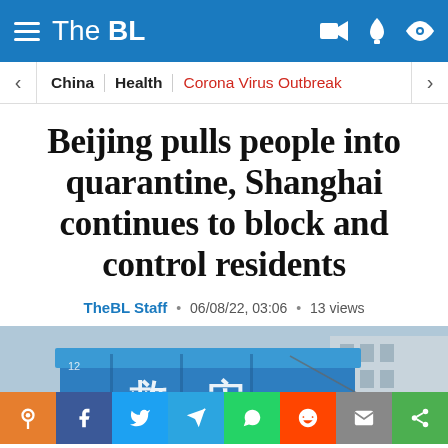The BL
China  |  Health  |  Corona Virus Outbreak
Beijing pulls people into quarantine, Shanghai continues to block and control residents
TheBL Staff • 06/08/22, 03:06 • 13 views
[Figure (photo): Blue emergency/disaster tent with Chinese characters, outdoor setting]